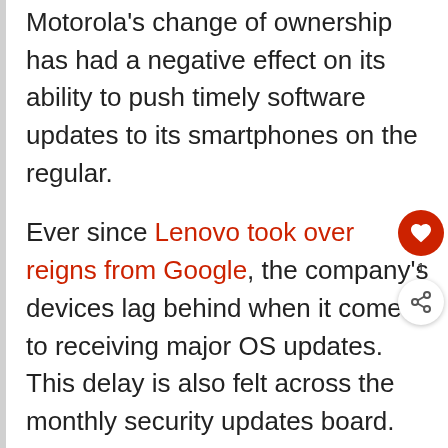Motorola's change of ownership has had a negative effect on its ability to push timely software updates to its smartphones on the regular.
Ever since Lenovo took over reigns from Google, the company's devices lag behind when it comes to receiving major OS updates. This delay is also felt across the monthly security updates board.
To date, for instance, several Motorola